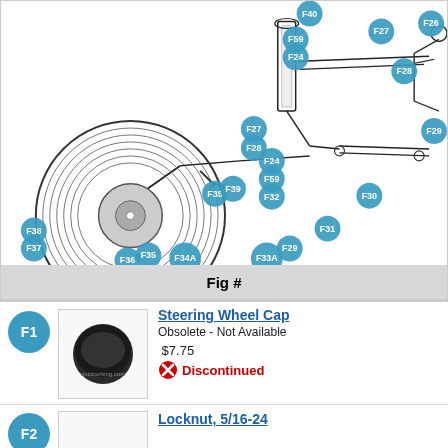[Figure (engineering-diagram): Exploded parts diagram of a steering/front axle assembly for a riding mower or golf cart, with teal circular callout badges labeled F24, F26, F27, F28, F29, F30, F31, F32, F33A, F34A, F35, F36, F37, F38, F39, F40, F59 indicating individual components.]
| Fig # | Image | Part Name | Status | Price | Availability |
| --- | --- | --- | --- | --- | --- |
| F1 | [image] | Steering Wheel Cap | Obsolete - Not Available | $7.75 | Discontinued |
| F2 | [image] | Locknut, 5/16-24 |  |  |  |